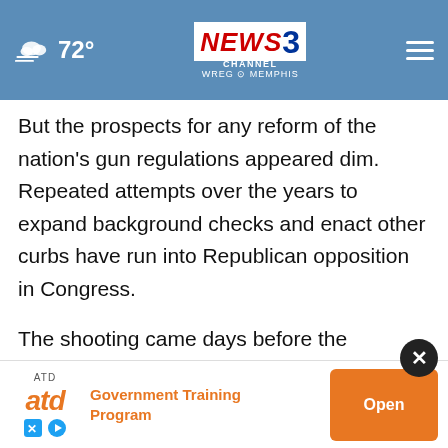72° NEWS CHANNEL 3 WREG MEMPHIS
But the prospects for any reform of the nation’s gun regulations appeared dim. Repeated attempts over the years to expand background checks and enact other curbs have run into Republican opposition in Congress.
The shooting came days before the National Rifle Association annual convention was set to begin in Houston, with the Texas governor and both of the state’s Republican U.S. senators scheduled to speak.
On social media in the days and hours before the massa… … thing occur in to